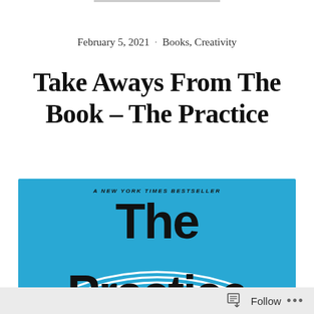February 5, 2021  ·  Books, Creativity
Take Aways From The Book – The Practice
[Figure (photo): Book cover of 'The Practice' by Seth Godin on a blue background with 'A New York Times Bestseller' text at the top and large bold text reading 'The Practice' with concentric arc lines graphic element]
Follow